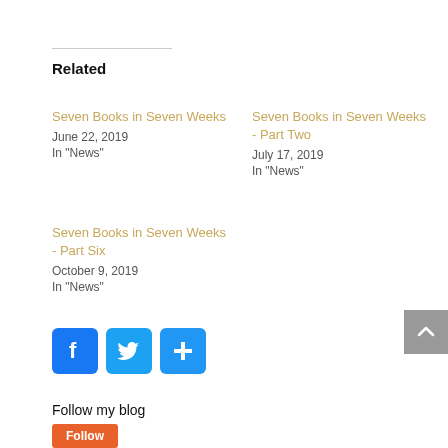Related
Seven Books in Seven Weeks
June 22, 2019
In "News"
Seven Books in Seven Weeks - Part Two
July 17, 2019
In "News"
Seven Books in Seven Weeks - Part Six
October 9, 2019
In "News"
[Figure (infographic): Social share buttons: Facebook (blue), Twitter (light blue), and a plus/more button (blue)]
Follow my blog